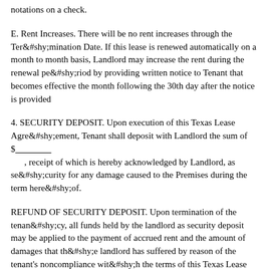notations on a check.
E. Rent Increases. There will be no rent increases through the Termination Date. If this lease is renewed automatically on a month to month basis, Landlord may increase the rent during the renewal period by providing written notice to Tenant that becomes effective the month following the 30th day after the notice is provided
4. SECURITY DEPOSIT. Upon execution of this Texas Lease Agreement, Tenant shall deposit with Landlord the sum of $__________, receipt of which is hereby acknowledged by Landlord, as security for any damage caused to the Premises during the term hereof.
REFUND OF SECURITY DEPOSIT. Upon termination of the tenancy, all funds held by the landlord as security deposit may be applied to the payment of accrued rent and the amount of damages that the landlord has suffered by reason of the tenant's noncompliance with the terms of this Texas Lease Agreement or with any and all laws, ordinances, rules and orders of any and all governmental or quasi-governmental authorities affecting the cleanliness, use, occupancy